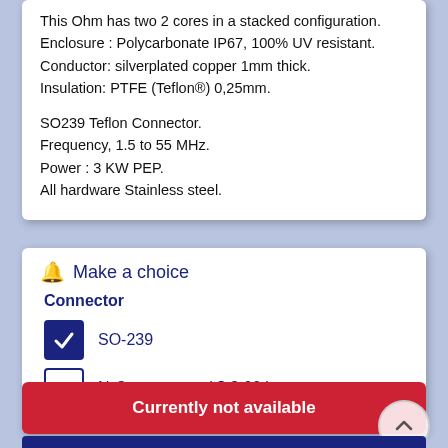This Ohm has two 2 cores in a stacked configuration. Enclosure : Polycarbonate IP67, 100% UV resistant. Conductor: silverplated copper 1mm thick. Insulation: PTFE (Teflon®) 0,25mm.

SO239 Teflon Connector.
Frequency, 1.5 to 55 MHz.
Power : 3 KW PEP.
All hardware Stainless steel.
Make a choice
Connector
SO-239 [checked]
N-Connector + ( $ 3.00 ) [unchecked]
Currently not available